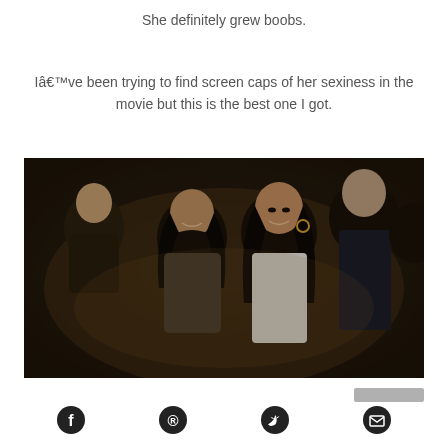She definitely grew boobs.
Iâ€™ve been trying to find screen caps of her sexiness in the movie but this is the best one I got.
[Figure (photo): Movie screen capture showing two young Asian women seated in what appears to be an auditorium or theater, with other people visible in the background. The woman in the foreground is wearing a white blouse.]
[Figure (infographic): Social media share icons: Facebook, Pinterest, Twitter, Email]